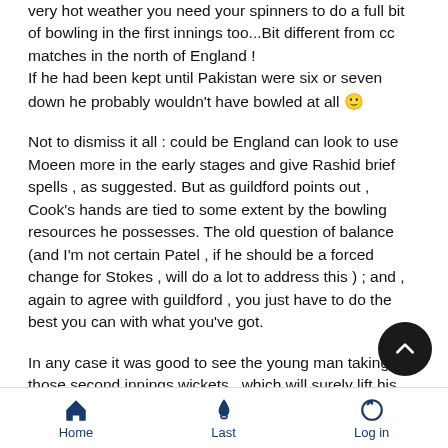very hot weather you need your spinners to do a full bit of bowling in the first innings too...Bit different from cc matches in the north of England ! If he had been kept until Pakistan were six or seven down he probably wouldn't have bowled at all 🙂
Not to dismiss it all : could be England can look to use Moeen more in the early stages and give Rashid brief spells , as suggested. But as guildford points out , Cook's hands are tied to some extent by the bowling resources he possesses. The old question of balance (and I'm not certain Patel , if he should be a forced change for Stokes , will do a lot to address this ) ; and , again to agree with guildford , you just have to do the best you can with what you've got.
In any case it was good to see the young man taking those second innings wickets , which will surely lift his confidence this match , and may therefore help even in the first innings. particularly like to see how he , and England generally , would
Home  Last  Log in